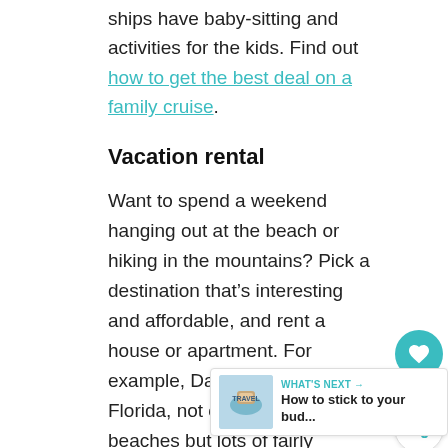ships have baby-sitting and activities for the kids. Find out how to get the best deal on a family cruise.
Vacation rental
Want to spend a weekend hanging out at the beach or hiking in the mountains? Pick a destination that’s interesting and affordable, and rent a house or apartment. For example, Daytona Beach, Florida, not only has pristine beaches but lots of fairly inexpensive things to do. No matter where you stay, you can find a house that fits your budget; you might have to compromise on number of bedrooms and bathrooms, proximity to town or